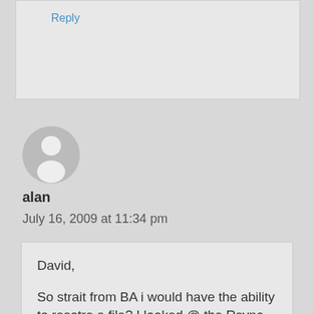Reply
[Figure (illustration): Generic user avatar: grey circle with white silhouette of a person]
alan
July 16, 2009 at 11:34 pm
David,

So strait from BA i would have the ability to resotre a file? I looked @ the Rsync command, and decided its easier to